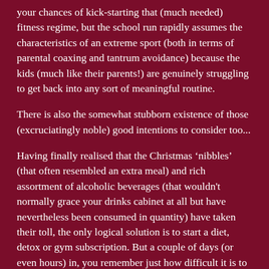your chances of kick-starting that (much needed) fitness regime, but the school run rapidly assumes the characteristics of an extreme sport (both in terms of parental coaxing and tantrum avoidance) because the kids (much like their parents!) are genuinely struggling to get back into any sort of meaningful routine.
There is also the somewhat stubborn existence of those (excruciatingly noble) good intentions to consider too...
Having finally realised that the Christmas ‘nibbles’ (that often resembled an extra meal) and rich assortment of alcoholic beverages (that wouldn't normally grace your drinks cabinet at all but have nevertheless been consumed in quantity) have taken their toll, the only logical solution is to start a diet, detox or gym subscription. But a couple of days (or even hours) in, you remember just how difficult it is to find the energy or